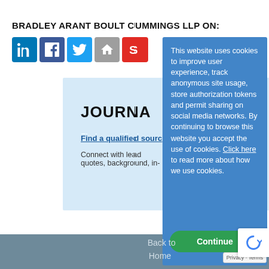BRADLEY ARANT BOULT CUMMINGS LLP ON:
[Figure (screenshot): Social media icon buttons: LinkedIn (blue), Facebook (dark blue), Twitter (light blue), Home (gray), Scribd (red S)]
[Figure (screenshot): Light blue advertisement box with heading 'JOURNA', link 'Find a qualified source', and description 'Connect with lead... quotes, background, in-']
This website uses cookies to improve user experience, track anonymous site usage, store authorization tokens and permit sharing on social media networks. By continuing to browse this website you accept the use of cookies. Click here to read more about how we use cookies.
Continue
Back to
Home
Privacy · Terms